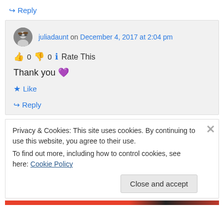↪ Reply
juliadaunt on December 4, 2017 at 2:04 pm
👍 0 👎 0 ℹ Rate This
Thank you 💜
★ Like
↪ Reply
Privacy & Cookies: This site uses cookies. By continuing to use this website, you agree to their use. To find out more, including how to control cookies, see here: Cookie Policy
Close and accept